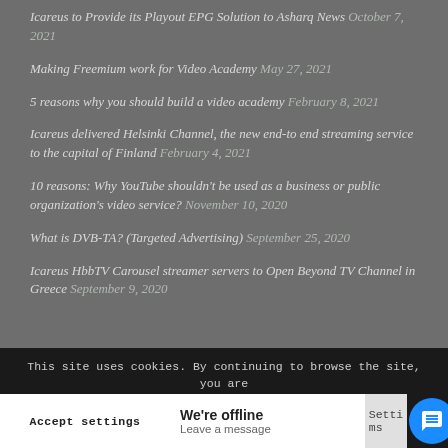Icareus to Provide its Playout EPG Solution to Asharq News October 7, 2021
Making Freemium work for Video Academy May 27, 2021
5 reasons why you should build a video academy February 8, 2021
Icareus delivered Helsinki Channel, the new end-to end streaming service to the capital of Finland February 4, 2021
10 reasons: Why YouTube shouldn't be used as a business or public organization's video service? November 10, 2020
What is DVB-TA? (Targeted Advertising) September 25, 2020
Icareus HbbTV Carousel streamer servers to Open Beyond TV Channel in Greece September 9, 2020
This site uses cookies. By continuing to browse the site, you are agreeing to our use of cookies.
Accept settings | We're offline Leave a message | Settings